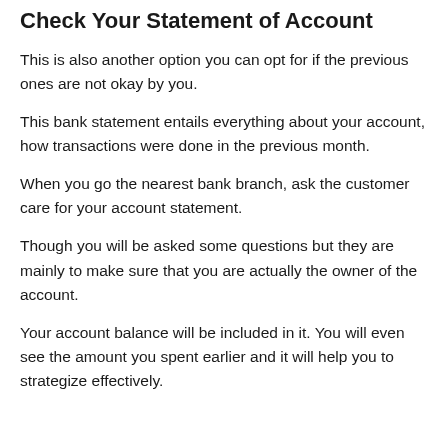Check Your Statement of Account
This is also another option you can opt for if the previous ones are not okay by you.
This bank statement entails everything about your account, how transactions were done in the previous month.
When you go the nearest bank branch, ask the customer care for your account statement.
Though you will be asked some questions but they are mainly to make sure that you are actually the owner of the account.
Your account balance will be included in it. You will even see the amount you spent earlier and it will help you to strategize effectively.